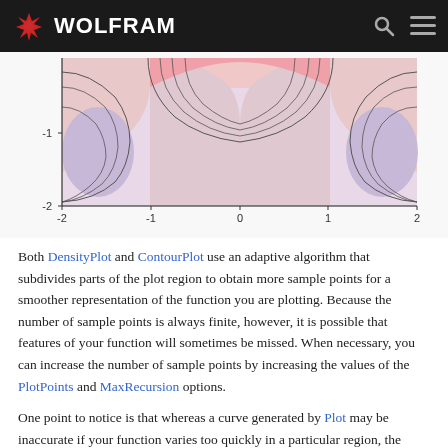WOLFRAM
[Figure (continuous-plot): ContourPlot showing contour lines of a function over the domain x in [-2,2], y in [-2,0]. The plot shows curved contour lines forming arch/horseshoe shapes with pinkish-red and lavender/purple color regions.]
Both DensityPlot and ContourPlot use an adaptive algorithm that subdivides parts of the plot region to obtain more sample points for a smoother representation of the function you are plotting. Because the number of sample points is always finite, however, it is possible that features of your function will sometimes be missed. When necessary, you can increase the number of sample points by increasing the values of the PlotPoints and MaxRecursion options.
One point to notice is that whereas a curve generated by Plot may be inaccurate if your function varies too quickly in a particular region, the shape of contours generated by ContourPlot can be inaccurate if your function varies too slowly. A rapidly varying function gives a regular pattern of contours, but a function that is almost flat can give irregular contours. You can typically overcome this by increasing the value of